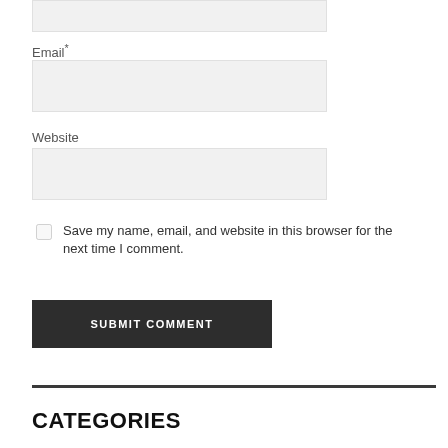Email*
Website
Save my name, email, and website in this browser for the next time I comment.
SUBMIT COMMENT
CATEGORIES